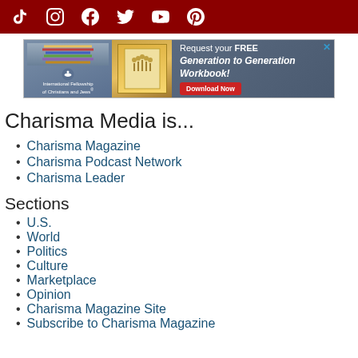Social media icons: TikTok, Instagram, Facebook, Twitter, YouTube, Pinterest
[Figure (other): Advertisement banner for International Fellowship of Christians and Jews - Request your FREE Generation to Generation Workbook! Download Now]
Charisma Media is...
Charisma Magazine
Charisma Podcast Network
Charisma Leader
Sections
U.S.
World
Politics
Culture
Marketplace
Opinion
Charisma Magazine Site
Subscribe to Charisma Magazine